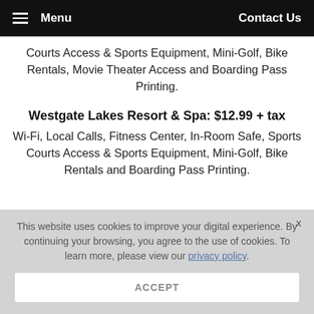Menu   Contact Us
Courts Access & Sports Equipment, Mini-Golf, Bike Rentals, Movie Theater Access and Boarding Pass Printing.
Westgate Lakes Resort & Spa: $12.99 + tax
Wi-Fi, Local Calls, Fitness Center, In-Room Safe, Sports Courts Access & Sports Equipment, Mini-Golf, Bike Rentals and Boarding Pass Printing.
This website uses cookies to improve your digital experience. By continuing your browsing, you agree to the use of cookies. To learn more, please view our privacy policy.